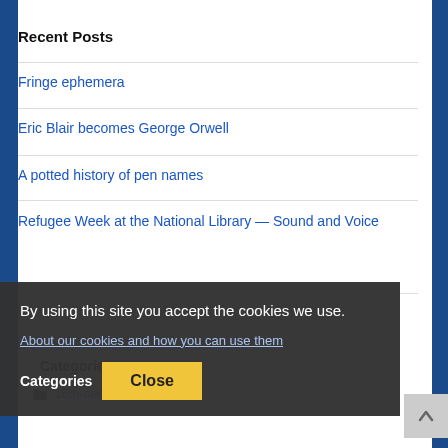Recent Posts
Fringe ephemera
Eric Blair becomes George Orwell
A potted history of pen names
Refugee Week at the National Library — Sound and Voice
By using this site you accept the cookies we use.
About our cookies and how you can use them
Categories
Close
16th-century items